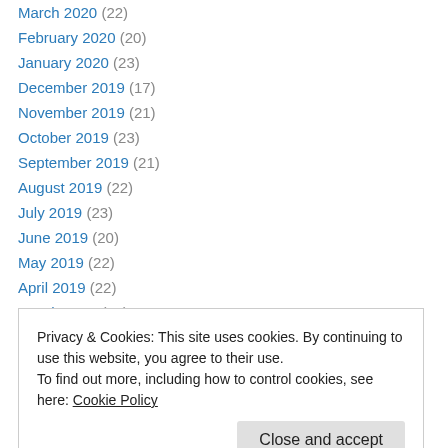March 2020 (22)
February 2020 (20)
January 2020 (23)
December 2019 (17)
November 2019 (21)
October 2019 (23)
September 2019 (21)
August 2019 (22)
July 2019 (23)
June 2019 (20)
May 2019 (22)
April 2019 (22)
March 2019 (20)
Privacy & Cookies: This site uses cookies. By continuing to use this website, you agree to their use. To find out more, including how to control cookies, see here: Cookie Policy
August 2018 (17)